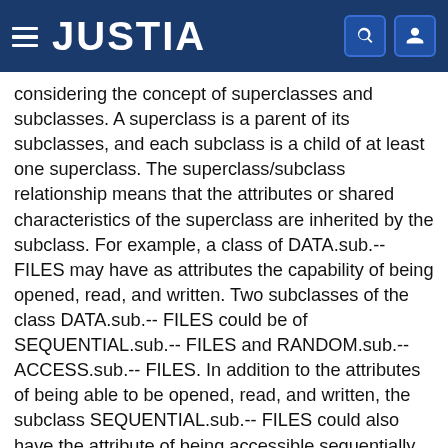JUSTIA
considering the concept of superclasses and subclasses. A superclass is a parent of its subclasses, and each subclass is a child of at least one superclass. The superclass/subclass relationship means that the attributes or shared characteristics of the superclass are inherited by the subclass. For example, a class of DATA.sub.-- FILES may have as attributes the capability of being opened, read, and written. Two subclasses of the class DATA.sub.-- FILES could be of SEQUENTIAL.sub.-- FILES and RANDOM.sub.-- ACCESS.sub.-- FILES. In addition to the attributes of being able to be opened, read, and written, the subclass SEQUENTIAL.sub.-- FILES could also have the attribute of being accessible sequentially, and the subclass RANDOM.sub.-- ACCESS.sub.-- FILES could have the attribute of being accessible directly by an address.